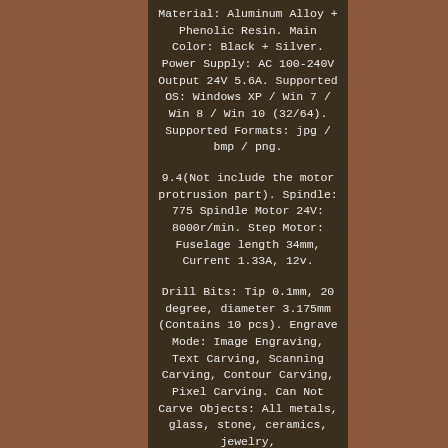Material: Aluminum Alloy + Phenolic Resin. Main Color: Black + Silver. Power Supply: AC 100-240V Output 24V 5.6A. Supported OS: Windows XP / Win 7 / Win 8 / Win 10 (32/64). Supported Formats: jpg / bmp / png.
9.4(Not include the motor protrusion part). Spindle: 775 Spindle Motor 24V: 8000r/min. Step Motor: Fuselage length 34mm, Current 1.33A, 12v.
Drill Bits: Tip 0.1mm, 20 degree, diameter 3.175mm (Contains 10 pcs). Engrave Mode: Image Engraving, Text Carving, Scanning Carving, Contour Carving, Pixel Carving. Can Not Carve Objects: All metals, glass, stone, ceramics, jewelry,